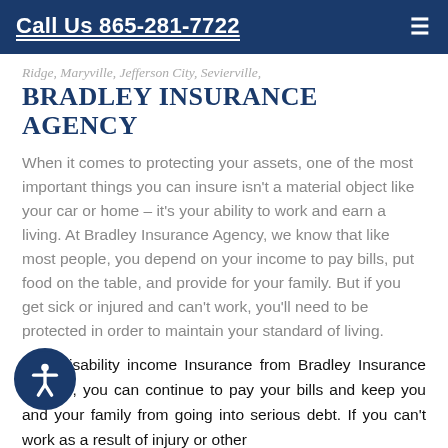Call Us 865-281-7722
Ridge, Maryville, Jefferson City, Sevierville,
BRADLEY INSURANCE AGENCY
When it comes to protecting your assets, one of the most important things you can insure isn't a material object like your car or home – it's your ability to work and earn a living. At Bradley Insurance Agency, we know that like most people, you depend on your income to pay bills, put food on the table, and provide for your family. But if you get sick or injured and can't work, you'll need to be protected in order to maintain your standard of living.
With disability income Insurance from Bradley Insurance Agency, you can continue to pay your bills and keep you and your family from going into serious debt. If you can't work as a result of injury or other